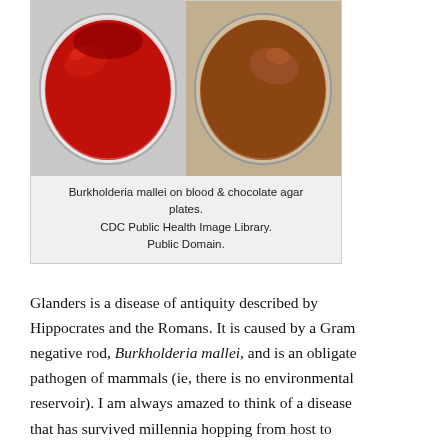[Figure (photo): Two petri dishes side by side: left dish shows bright red blood agar plate with Burkholderia mallei colonies; right dish shows chocolate-brown chocolate agar plate with colonies.]
Burkholderia mallei on blood & chocolate agar plates.
CDC Public Health Image Library.
Public Domain.
Glanders is a disease of antiquity described by Hippocrates and the Romans. It is caused by a Gram negative rod, Burkholderia mallei, and is an obligate pathogen of mammals (ie, there is no environmental reservoir). I am always amazed to think of a disease that has survived millennia hopping from host to host in an unbroken chain. To think the bacteria infecting